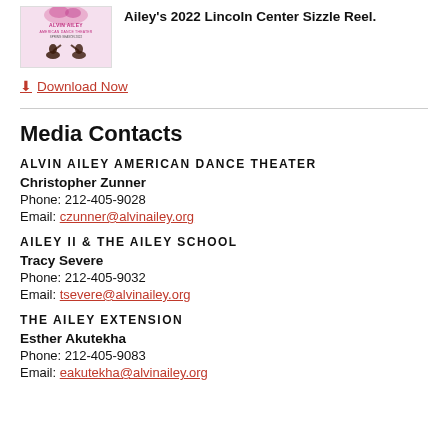[Figure (photo): Alvin Ailey American Dance Theater Spring Season 2022 poster with dancers and pink floral design]
Ailey's 2022 Lincoln Center Sizzle Reel.
Download Now
Media Contacts
ALVIN AILEY AMERICAN DANCE THEATER
Christopher Zunner
Phone: 212-405-9028
Email: czunner@alvinailey.org
AILEY II & THE AILEY SCHOOL
Tracy Severe
Phone: 212-405-9032
Email: tsevere@alvinailey.org
THE AILEY EXTENSION
Esther Akutekha
Phone: 212-405-9083
Email: eakutekha@alvinailey.org